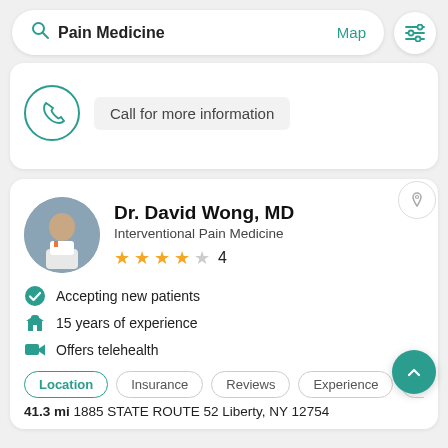Pain Medicine | Map
Call for more information
Dr. David Wong, MD
Interventional Pain Medicine
★★★★☆ 4
Accepting new patients
15 years of experience
Offers telehealth
Location | Insurance | Reviews | Experience | Abo
41.3 mi 1885 STATE ROUTE 52 Liberty, NY 12754